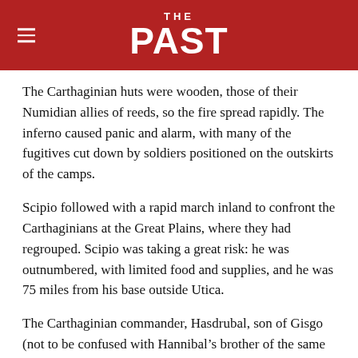THE PAST
The Carthaginian huts were wooden, those of their Numidian allies of reeds, so the fire spread rapidly. The inferno caused panic and alarm, with many of the fugitives cut down by soldiers positioned on the outskirts of the camps.
Scipio followed with a rapid march inland to confront the Carthaginians at the Great Plains, where they had regrouped. Scipio was taking a great risk: he was outnumbered, with limited food and supplies, and he was 75 miles from his base outside Utica.
The Carthaginian commander, Hasdrubal, son of Gisgo (not to be confused with Hannibal’s brother of the same name), might have done better to have waited until the Romans were obliged to return to base and then harassed them in retreat. By giving battle, he played into Scipio’s hands.